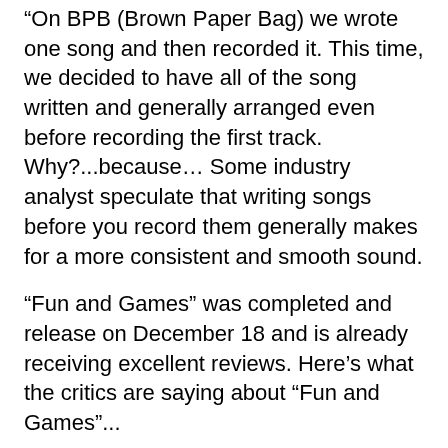“On BPB (Brown Paper Bag) we wrote one song and then recorded it. This time, we decided to have all of the song written and generally arranged even before recording the first track. Why?...because… Some industry analyst speculate that writing songs before you record them generally makes for a more consistent and smooth sound.
“Fun and Games” was completed and release on December 18 and is already receiving excellent reviews. Here’s what the critics are saying about “Fun and Games”...
"Take the Beatles, REM, Squeeze, the Beach Boys... put them in a blender, and you would get something that would approach (but not quite match) the musical genius of John Knauff and Steve Smith, aka stevenjohn!" - Rolling Stone Fan